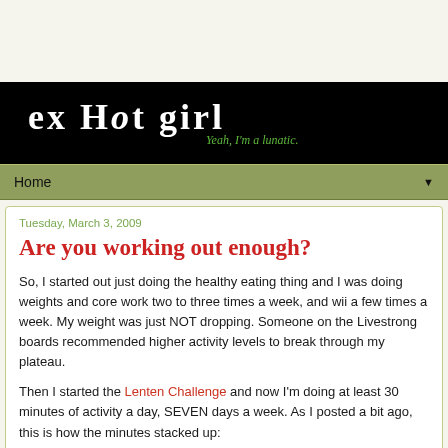ex Hot Girl — Yeah, I'm a lunatic.
Are you working out enough?
Tuesday, March 3, 2009
So, I started out just doing the healthy eating thing and I was doing weights and core work two to three times a week, and wii a few times a week. My weight was just NOT dropping. Someone on the Livestrong boards recommended higher activity levels to break through my plateau.
Then I started the Lenten Challenge and now I'm doing at least 30 minutes of activity a day, SEVEN days a week. As I posted a bit ago, this is how the minutes stacked up: